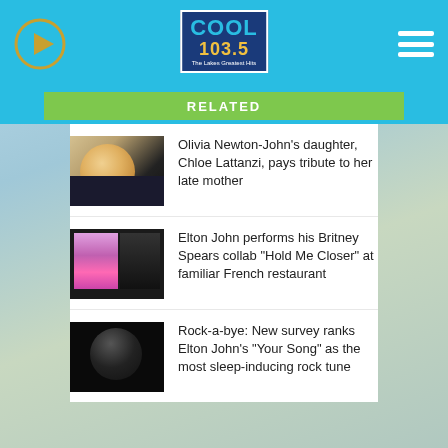Cool 103.5 - The Lakes Greatest Hits
RELATED
[Figure (photo): Thumbnail photo of Olivia Newton-John, blonde woman smiling]
Olivia Newton-John's daughter, Chloe Lattanzi, pays tribute to her late mother
[Figure (photo): Thumbnail showing Britney Spears and Elton John album art for Hold Me Closer]
Elton John performs his Britney Spears collab "Hold Me Closer" at familiar French restaurant
[Figure (photo): Dark thumbnail of Elton John album cover showing silhouette with glasses]
Rock-a-bye: New survey ranks Elton John's "Your Song" as the most sleep-inducing rock tune